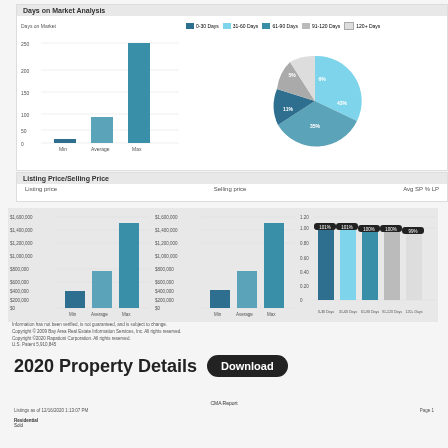Days on Market Analysis
[Figure (bar-chart): Days on Market]
[Figure (pie-chart): Days on Market Distribution]
Listing Price/Selling Price
Listing price   Selling price   Avg SP % LP
[Figure (bar-chart): Listing Price]
[Figure (bar-chart): Selling Price]
[Figure (bar-chart): Avg SP % LP]
Information has not been verified, is not guaranteed, and is subject to change.
Copyright © 2009 Bay Area Real Estate Information Services, Inc. All rights reserved.
Copyright ©2020 Rapattoni Corporation. All rights reserved.
U.S. Patent 5,910,845
2020 Property Details
Download
CMA Report
Listings as of 12/16/2020 1:13:07 PM
Page 1
Residential
Sold